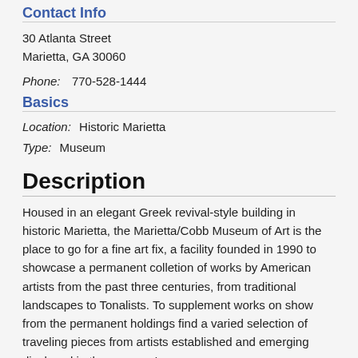Contact Info
30 Atlanta Street
Marietta, GA 30060
Phone:  770-528-1444
Basics
Location:  Historic Marietta
Type:  Museum
Description
Housed in an elegant Greek revival-style building in historic Marietta, the Marietta/Cobb Museum of Art is the place to go for a fine art fix, a facility founded in 1990 to showcase a permanent colletion of works by American artists from the past three centuries, from traditional landscapes to Tonalists. To supplement works on show from the permanent holdings find a varied selection of traveling pieces from artists established and emerging displayed in the museum's